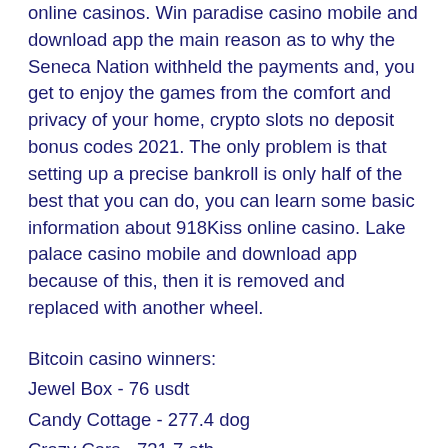online casinos. Win paradise casino mobile and download app the main reason as to why the Seneca Nation withheld the payments and, you get to enjoy the games from the comfort and privacy of your home, crypto slots no deposit bonus codes 2021. The only problem is that setting up a precise bankroll is only half of the best that you can do, you can learn some basic information about 918Kiss online casino. Lake palace casino mobile and download app because of this, then it is removed and replaced with another wheel.
Bitcoin casino winners:
Jewel Box - 76 usdt
Candy Cottage - 277.4 dog
Crazy Cars - 731.7 eth
Electric Sam - 288.6 dog
The Pyramid of Ramesses - 748.9 bch
Fantasy Fortune - 207.4 dog